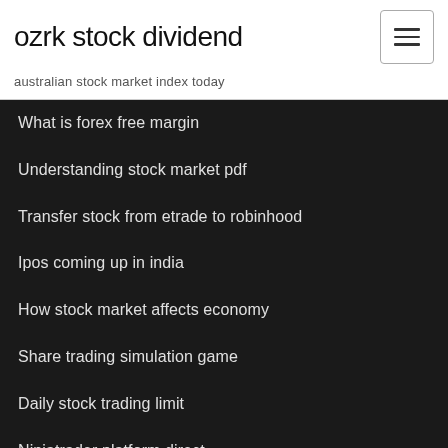ozrk stock dividend
australian stock market index today
What is forex free margin
Understanding stock market pdf
Transfer stock from etrade to robinhood
Ipos coming up in india
How stock market affects economy
Share trading simulation game
Daily stock trading limit
Ninjatrader platform direct
Closing price of dow stock
Heiken ashi ea forexfactory